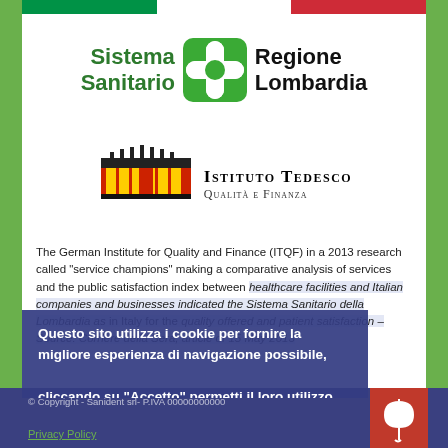[Figure (logo): Italian flag bar at top of white content area]
[Figure (logo): Sistema Sanitario Regione Lombardia logo with green icon and text]
[Figure (logo): Istituto Tedesco Qualità e Finanza logo with Brandenburg Gate illustration]
The German Institute for Quality and Finance (ITQF) in a 2013 research called “service champions” making a comparative analysis of services and the public satisfaction index between healthcare facilities and Italian companies and businesses indicated the Sistema Sanitario della Lombardia as in Italy for the quality offered and patient satisfaction – Source: Corriere della Sera, article of 15 May 2013
Questo sito utilizza i cookie per fornire la migliore esperienza di navigazione possibile, cliccando su "Accetto" permetti il loro utilizzo.
Maggiori informazioni
Accetto
© Copyright - Sanident srl- P.IVA 00000000000
Privacy Policy